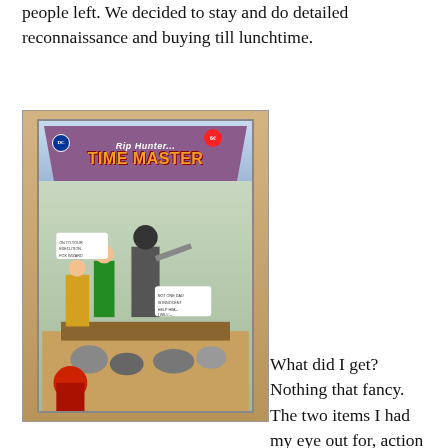people left. We decided to stay and do detailed reconnaissance and buying till lunchtime.
[Figure (photo): Photo of a Rip Hunter Time Master comic book cover displayed in a plastic sleeve, propped against a wooden surface. The cover shows a masked villain holding a whip/weapon, a hero in green outfit, with crowds in the background. Title reads 'Rip Hunter Time Master' with a DC Comics badge.]
What did I get? Nothing that fancy. The two items I had my eye out for, action figures of Zatanna and Scarlet Witch, were not to be found. Oh, there were tons of figures, but neither of my two somewhat